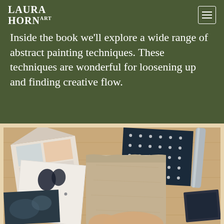LAURA HORN ART
Inside the book we'll explore a wide range of abstract painting techniques. These techniques are wonderful for loosening up and finding creative flow.
[Figure (photo): Photo showing various art supplies and small abstract paintings/canvases laid out on a wooden surface, including pieces with ink brush marks, geometric patterns, and textured paper samples.]